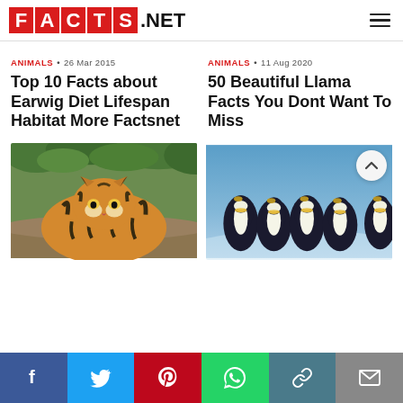FACTS.NET
ANIMALS • 26 Mar 2015
Top 10 Facts about Earwig Diet Lifespan Habitat More Factsnet
ANIMALS • 11 Aug 2020
50 Beautiful Llama Facts You Dont Want To Miss
[Figure (photo): A tiger resting, photographed in a natural green habitat setting]
[Figure (photo): A group of king penguins standing together with blue background]
f  Twitter  Pinterest  WhatsApp  Link  Email — social share bar